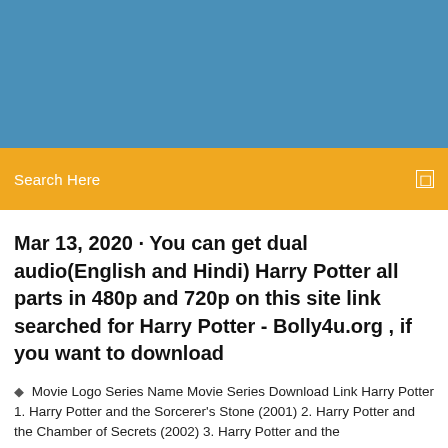[Figure (other): Blue header banner background]
Search Here
Mar 13, 2020 · You can get dual audio(English and Hindi) Harry Potter all parts in 480p and 720p on this site link searched for Harry Potter - Bolly4u.org , if you want to download
Movie Logo Series Name Movie Series Download Link Harry Potter 1. Harry Potter and the Sorcerer's Stone (2001) 2. Harry Potter and the Chamber of Secrets (2002) 3. Harry Potter and the